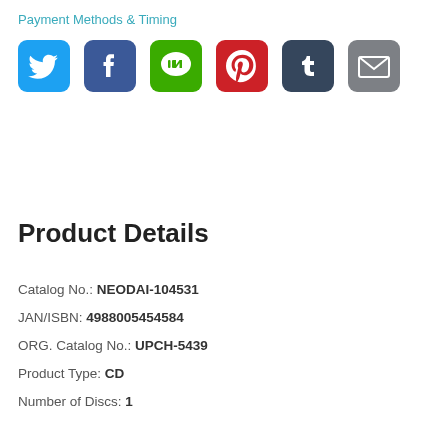Payment Methods & Timing
[Figure (other): Row of six social media sharing icons: Twitter (blue bird), Facebook (blue f), LINE (green chat bubble), Pinterest (red P), Tumblr (dark blue t), Email (gray envelope)]
Product Details
Catalog No.: NEODAI-104531
JAN/ISBN: 4988005454584
ORG. Catalog No.: UPCH-5439
Product Type: CD
Number of Discs: 1